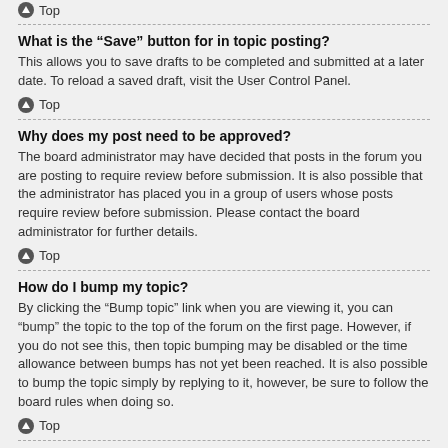Top
What is the “Save” button for in topic posting?
This allows you to save drafts to be completed and submitted at a later date. To reload a saved draft, visit the User Control Panel.
Top
Why does my post need to be approved?
The board administrator may have decided that posts in the forum you are posting to require review before submission. It is also possible that the administrator has placed you in a group of users whose posts require review before submission. Please contact the board administrator for further details.
Top
How do I bump my topic?
By clicking the “Bump topic” link when you are viewing it, you can “bump” the topic to the top of the forum on the first page. However, if you do not see this, then topic bumping may be disabled or the time allowance between bumps has not yet been reached. It is also possible to bump the topic simply by replying to it, however, be sure to follow the board rules when doing so.
Top
Formatting and Topic Types